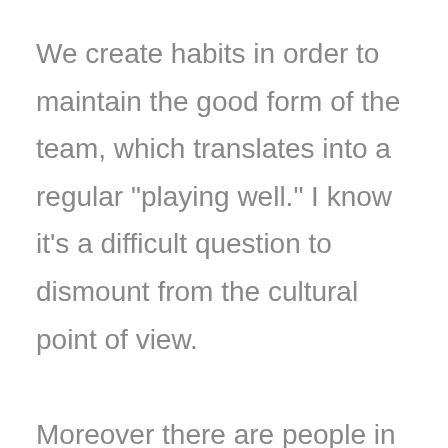We create habits in order to maintain the good form of the team, which translates into a regular "playing well." I know it's a difficult question to dismount from the cultural point of view.

Moreover there are people in their own right, who think radically the opposite.

Even for those coaches who say that they train with situations of small sided